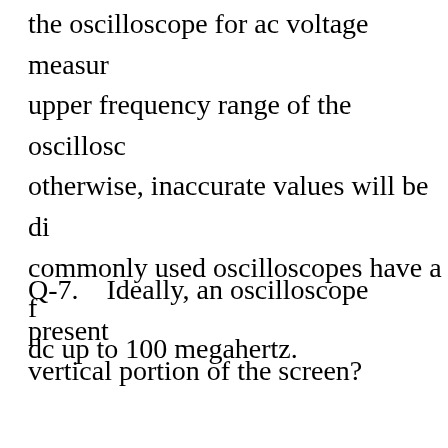the oscilloscope for ac voltage measurements, the upper frequency range of the oscilloscope, otherwise, inaccurate values will be displayed. Most commonly used oscilloscopes have a frequency from dc up to 100 megahertz.
Q-7.   Ideally, an oscilloscope presents the vertical portion of the screen?